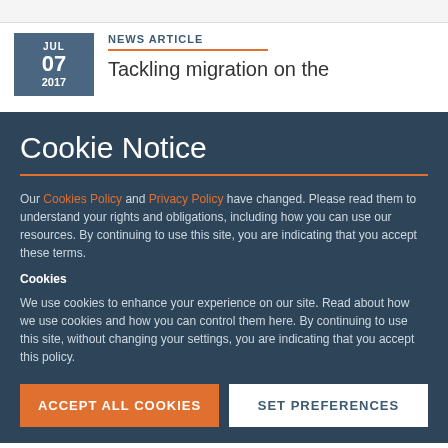NEWS ARTICLE
Tackling migration on the
Cookie Notice
Our Cookies Policy and Privacy Policy have changed. Please read them to understand your rights and obligations, including how you can use our resources. By continuing to use this site, you are indicating that you accept these terms.
Cookies
We use cookies to enhance your experience on our site. Read about how we use cookies and how you can control them here. By continuing to use this site, without changing your settings, you are indicating that you accept this policy.
ACCEPT ALL COOKIES
SET PREFERENCES